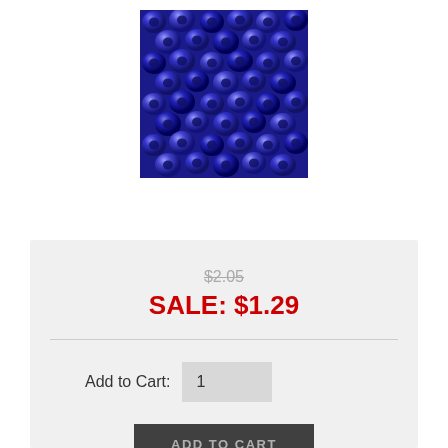[Figure (photo): Close-up photo of shiny royal blue/cobalt seed beads piled together, showing their circular hole openings and lustrous surface.]
$2.05
SALE: $1.29
Add to Cart: 1
ADD TO CART